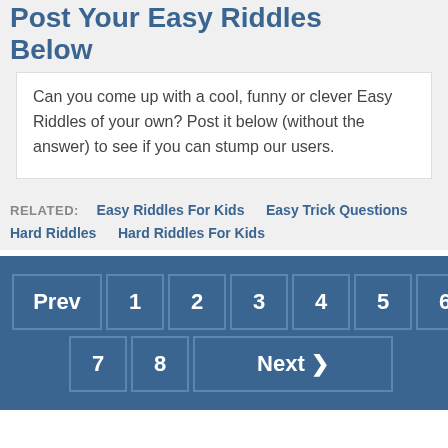Post Your Easy Riddles Below
Can you come up with a cool, funny or clever Easy Riddles of your own? Post it below (without the answer) to see if you can stump our users.
RELATED: Easy Riddles For Kids  Easy Trick Questions  Hard Riddles  Hard Riddles For Kids
Prev 1 2 3 4 5 6 7 8 Next ❯